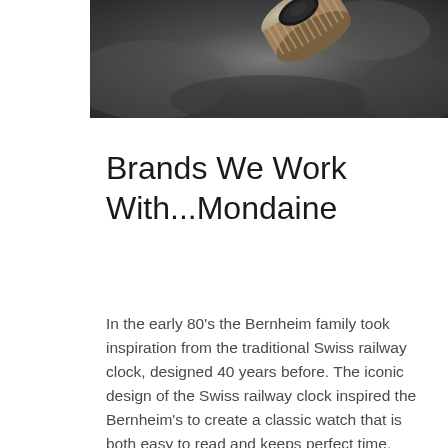[Figure (photo): Close-up black and white photograph of a watch crown/winder on a textured dark stone surface]
Brands We Work With...Mondaine
In the early 80's the Bernheim family took inspiration from the traditional Swiss railway clock, designed 40 years before. The iconic design of the Swiss railway clock inspired the Bernheim's to create a classic watch that is both easy to read and keeps perfect time.